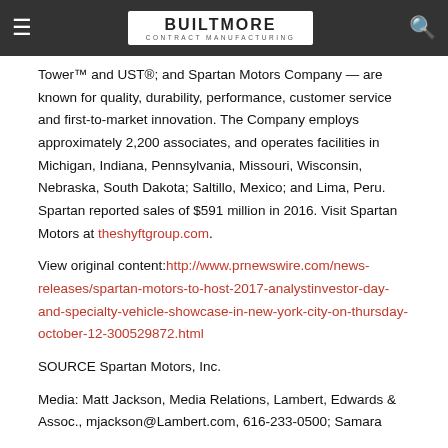BUILTMORE CONTRACT MANUFACTURING
Tower™ and UST®; and Spartan Motors Company — are known for quality, durability, performance, customer service and first-to-market innovation. The Company employs approximately 2,200 associates, and operates facilities in Michigan, Indiana, Pennsylvania, Missouri, Wisconsin, Nebraska, South Dakota; Saltillo, Mexico; and Lima, Peru. Spartan reported sales of $591 million in 2016. Visit Spartan Motors at theshyftgroup.com.
View original content: http://www.prnewswire.com/news-releases/spartan-motors-to-host-2017-analystinvestor-day-and-specialty-vehicle-showcase-in-new-york-city-on-thursday-october-12-300529872.html
SOURCE Spartan Motors, Inc.
Media: Matt Jackson, Media Relations, Lambert, Edwards & Assoc., mjackson@Lambert.com, 616-233-0500; Samara